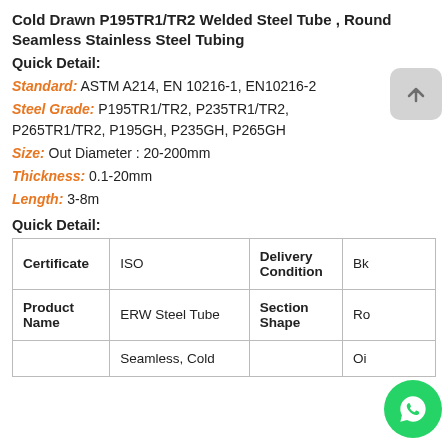Cold Drawn P195TR1/TR2 Welded Steel Tube , Round Seamless Stainless Steel Tubing
Quick Detail:
Standard: ASTM A214, EN 10216-1, EN10216-2
Steel Grade: P195TR1/TR2, P235TR1/TR2, P265TR1/TR2, P195GH, P235GH, P265GH
Size: Out Diameter : 20-200mm
Thickness: 0.1-20mm
Length: 3-8m
Quick Detail:
| Certificate |  | Delivery Condition |  |
| --- | --- | --- | --- |
| Certificate | ISO | Delivery Condition | Bk |
| Product Name | ERW Steel Tube | Section Shape | Ro |
|  | Seamless, Cold |  | Oi |